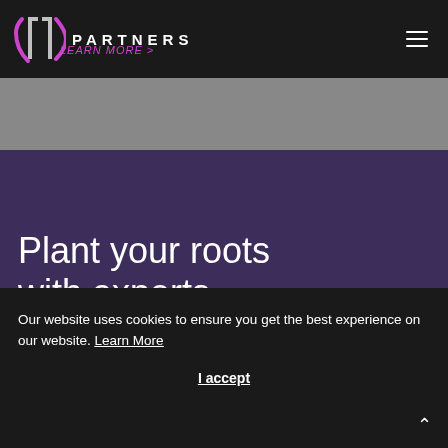LT PARTNERS
[Figure (logo): LT Partners logo with pink bracket/curve icon and 'PARTNERS' wordmark in white on dark background]
Plant your roots with experts
On average, our team of expert
Our website uses cookies to ensure you get the best experience on our website. Learn More
I accept